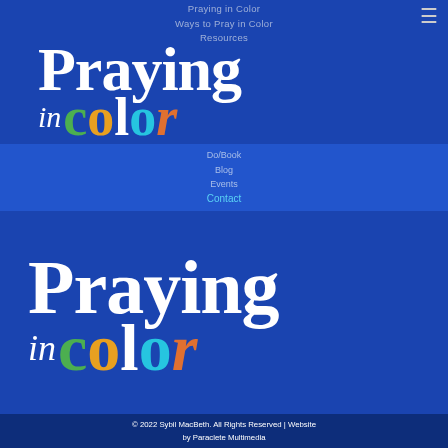Praying in Color
Ways to Pray in Color
Resources
[Figure (logo): Praying in Color logo — 'Praying' in large white serif bold text, 'in' in white italic, 'color' in mixed colors: c=green, o=gold, l=white, o=cyan, r=orange/italic]
Do/Book
Blog
Events
Contact
[Figure (logo): Larger version of Praying in Color logo — 'Praying' in large white serif bold text, 'in' in white italic, 'color' in mixed colors: c=green, o=gold, l=white, o=cyan, r=orange/italic]
© 2022 Sybil MacBeth. All Rights Reserved | Website by Paraclete Multimedia